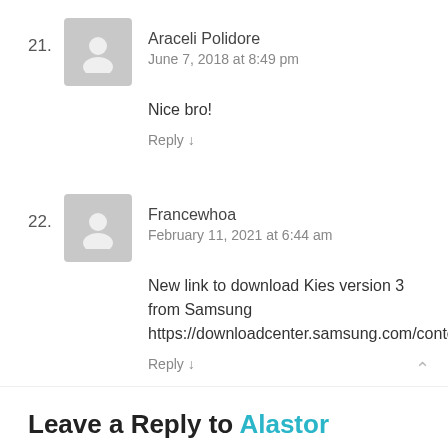21. Araceli Polidore — June 7, 2018 at 8:49 pm — Nice bro! — Reply ↓
22. Francewhoa — February 11, 2021 at 6:44 am — New link to download Kies version 3 from Samsung https://downloadcenter.samsung.com/content/SW/201507/20150710153808522/Kies3Setup.exe — Reply ↓
Leave a Reply to Alastor